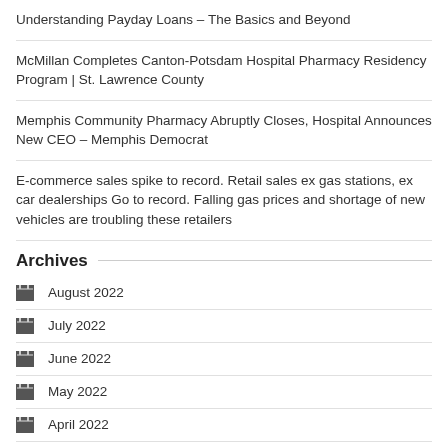Understanding Payday Loans – The Basics and Beyond
McMillan Completes Canton-Potsdam Hospital Pharmacy Residency Program | St. Lawrence County
Memphis Community Pharmacy Abruptly Closes, Hospital Announces New CEO – Memphis Democrat
E-commerce sales spike to record. Retail sales ex gas stations, ex car dealerships Go to record. Falling gas prices and shortage of new vehicles are troubling these retailers
Archives
August 2022
July 2022
June 2022
May 2022
April 2022
March 2022